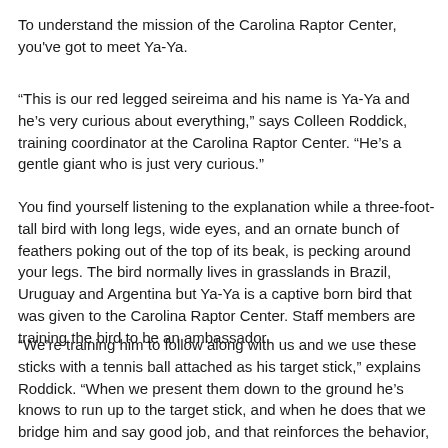To understand the mission of the Carolina Raptor Center, you've got to meet Ya-Ya.
“This is our red legged seireima and his name is Ya-Ya and he’s very curious about everything,” says Colleen Roddick, training coordinator at the Carolina Raptor Center. “He’s a gentle giant who is just very curious.”
You find yourself listening to the explanation while a three-foot-tall bird with long legs, wide eyes, and an ornate bunch of feathers poking out of the top of its beak, is pecking around your legs. The bird normally lives in grasslands in Brazil, Uruguay and Argentina but Ya-Ya is a captive born bird that was given to the Carolina Raptor Center. Staff members are training the bird to be an ambassador.
“We’re training him to follow along with us and we use these sticks with a tennis ball attached as his target stick,” explains Roddick. “When we present them down to the ground he’s knows to run up to the target stick, and when he does that we bridge him and say good job, and that reinforces the behavior, and after that we give him a food reinforcement, which could be a berry or a worm or something else he would naturally eat in the wild.”